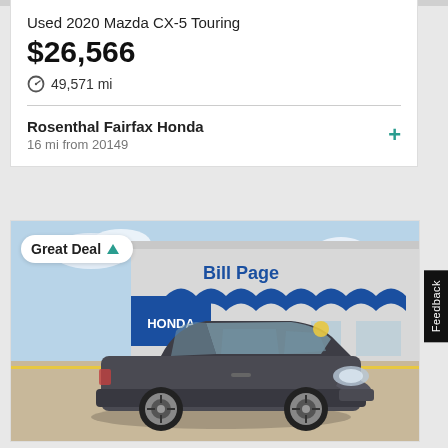Used 2020 Mazda CX-5 Touring
$26,566
49,571 mi
Rosenthal Fairfax Honda
16 mi from 20149
[Figure (photo): Gray Mazda CX-5 SUV parked in front of Bill Page Honda dealership. A 'Great Deal' badge with a teal upward arrow is overlaid in the top left of the image.]